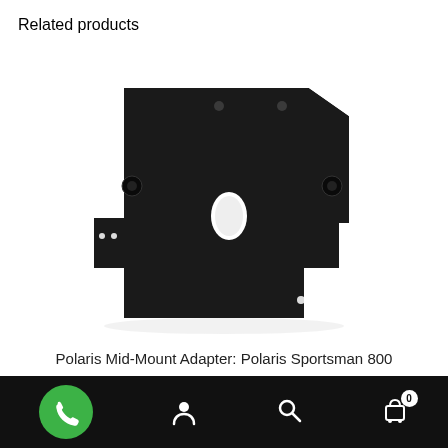Related products
[Figure (photo): Black metal mounting adapter plate, irregular polygon shape with mounting holes and rubber standoffs, photographed on white background]
Polaris Mid-Mount Adapter: Polaris Sportsman 800 (-2010) : Sportsman 800 Bigboss 6X6